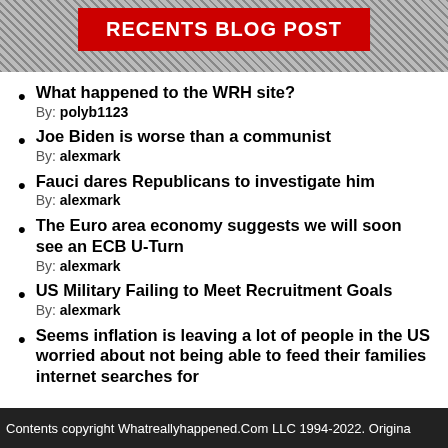RECENTS BLOG POST
What happened to the WRH site?
By: polyb1123
Joe Biden is worse than a communist
By: alexmark
Fauci dares Republicans to investigate him
By: alexmark
The Euro area economy suggests we will soon see an ECB U-Turn
By: alexmark
US Military Failing to Meet Recruitment Goals
By: alexmark
Seems inflation is leaving a lot of people in the US worried about not being able to feed their families internet searches for
Contents copyright Whatreallyhappened.Com LLC 1994-2022. Origina